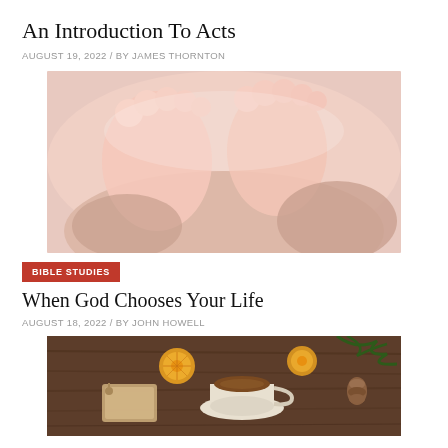An Introduction To Acts
AUGUST 19, 2022 / BY JAMES THORNTON
[Figure (photo): Close-up photo of tiny baby feet being cradled in adult hands]
BIBLE STUDIES
When God Chooses Your Life
AUGUST 18, 2022 / BY JOHN HOWELL
[Figure (photo): Overhead photo of a wooden table with a cup of tea, dried orange slices, pine cones, and evergreen branches]